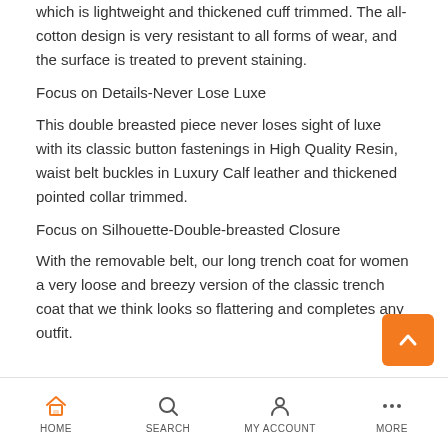which is lightweight and thickened cuff trimmed. The all-cotton design is very resistant to all forms of wear, and the surface is treated to prevent staining.
Focus on Details-Never Lose Luxe
This double breasted piece never loses sight of luxe with its classic button fastenings in High Quality Resin, waist belt buckles in Luxury Calf leather and thickened pointed collar trimmed.
Focus on Silhouette-Double-breasted Closure
With the removable belt, our long trench coat for women a very loose and breezy version of the classic trench coat that we think looks so flattering and completes any outfit.
HOME  SEARCH  MY ACCOUNT  MORE